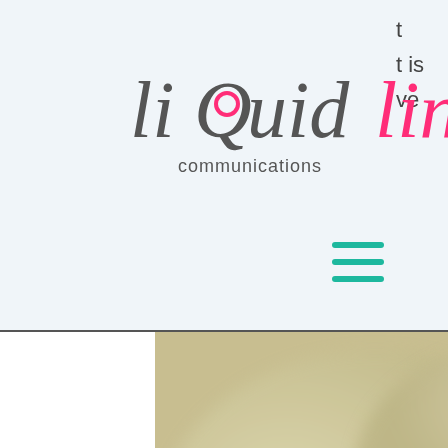[Figure (logo): LiQuidLingo Communications logo — stylized italic script with 'li' and 'uid' in grey, 'Q' with pink circle detail, 'lingo' in pink, and 'communications' subtitle below]
[Figure (photo): Blurred photograph, beige/olive/dark brown tones, appears to show objects on a surface]
That's why A StrangerKind hosts ASK events, to connect with those different